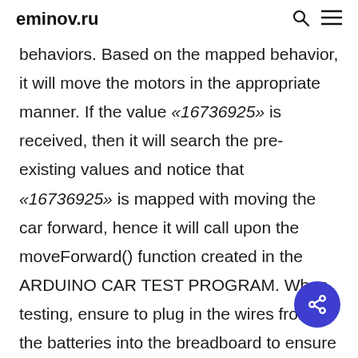eminov.ru
behaviors. Based on the mapped behavior, it will move the motors in the appropriate manner. If the value «16736925» is received, then it will search the pre-existing values and notice that «16736925» is mapped with moving the car forward, hence it will call upon the moveForward() function created in the ARDUINO CAR TEST PROGRAM. When testing, ensure to plug in the wires from the batteries into the breadboard to ensure the Arduino and motors are receiving power